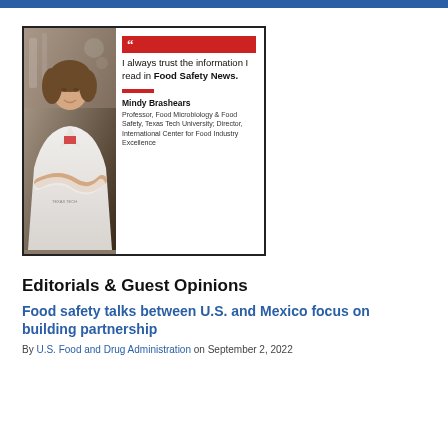[Figure (photo): Advertisement featuring Mindy Brashears with quote: 'I always trust the information I read in Food Safety News.' Mindy Brashears is Professor, Food Microbiology & Food Safety, Texas Tech University; Director, International Center for Food Industry Excellence]
Editorials & Guest Opinions
Food safety talks between U.S. and Mexico focus on building partnership
By U.S. Food and Drug Administration on September 2, 2022